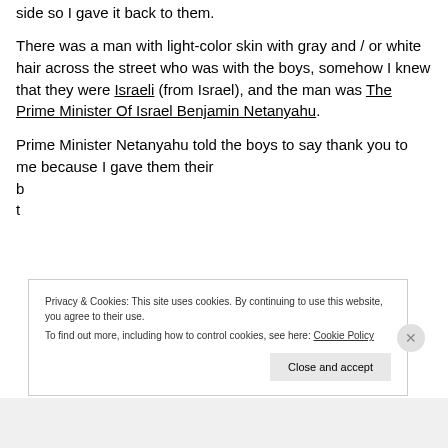side so I gave it back to them.
There was a man with light-color skin with gray and / or white hair across the street who was with the boys, somehow I knew that they were Israeli (from Israel), and the man was The Prime Minister Of Israel Benjamin Netanyahu.
Prime Minister Netanyahu told the boys to say thank you to me because I gave them their b... t...
Privacy & Cookies: This site uses cookies. By continuing to use this website, you agree to their use.
To find out more, including how to control cookies, see here: Cookie Policy
Close and accept